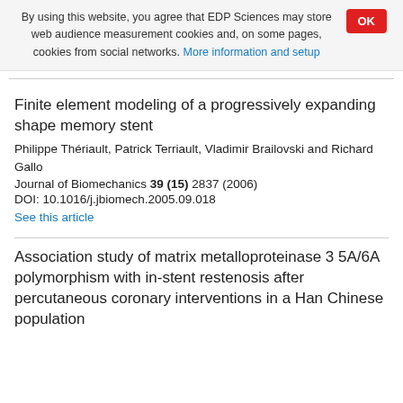By using this website, you agree that EDP Sciences may store web audience measurement cookies and, on some pages, cookies from social networks. More information and setup
Finite element modeling of a progressively expanding shape memory stent
Philippe Thériault, Patrick Terriault, Vladimir Brailovski and Richard Gallo
Journal of Biomechanics 39 (15) 2837 (2006)
DOI: 10.1016/j.jbiomech.2005.09.018
See this article
Association study of matrix metalloproteinase 3 5A/6A polymorphism with in-stent restenosis after percutaneous coronary interventions in a Han Chinese population